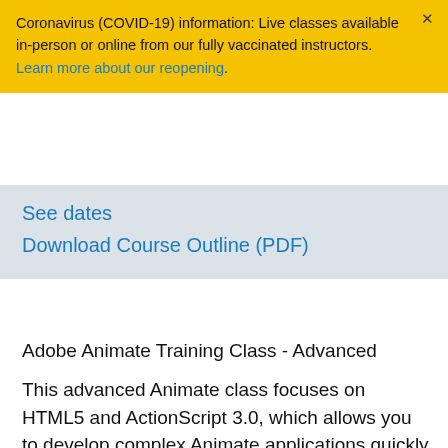Coronavirus (COVID-19) information: Live classes available in-person or online from our fully vaccinated instructors. Learn more about our reopening.
See dates
Download Course Outline (PDF)
Adobe Animate Training Class - Advanced
This advanced Animate class focuses on HTML5 and ActionScript 3.0, which allows you to develop complex Animate applications quickly and efficiently. Discover how to streamline your workflow and experience limitless creative potential in your designs using the enhanced tools